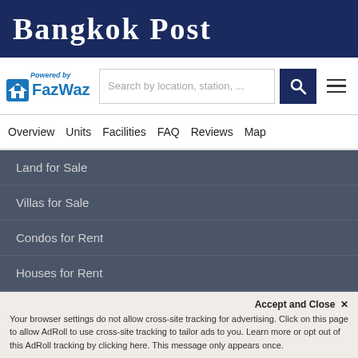Bangkok Post
[Figure (logo): FazWaz logo with house icon and 'Powered by' text]
Search by location, station, ...
Overview  Units  Facilities  FAQ  Reviews  Map
Land for Sale
Villas for Sale
Condos for Rent
Houses for Rent
Ram Inthra Property Types
Buy Condos
Buy Houses
Accept and Close ✕
Your browser settings do not allow cross-site tracking for advertising. Click on this page to allow AdRoll to use cross-site tracking to tailor ads to you. Learn more or opt out of this AdRoll tracking by clicking here. This message only appears once.